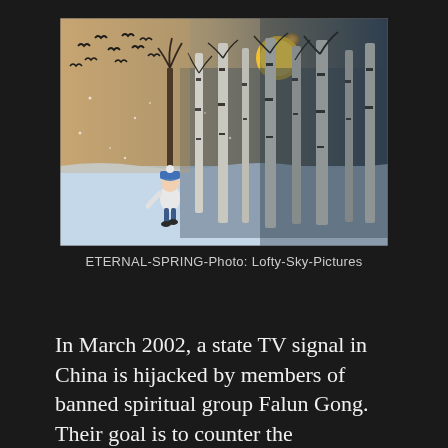[Figure (illustration): A painting depicting a winter scene. A small child in a blue hat and white coat walks toward a dense birch forest covered in snow. Birds fly in the sky to the upper left. A glowing golden moon or sun appears in the upper right among the trees. Snow covers the ground.]
ETERNAL-SPRING-Photo: Lofty-Sky-Pictures
In March 2002, a state TV signal in China is hijacked by members of banned spiritual group Falun Gong. Their goal is to counter the government narrative about their persecution.